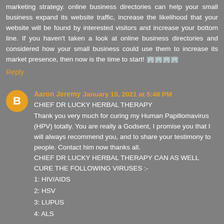marketing strategy. online business directories can help your small business expand its website traffic, increase the likelihood that your website will be found by interested visitors and increase your bottom line. If you haven't taken a look at online business directories and considered how your small business could use them to increase its market presence, then now is the time to start! 🏢🏢🏢🏢
Reply
Aaron Jeremy  January 15, 2021 at 5:48 PM
CHIEF DR LUCKY HERBAL THERAPY
Thank you very much for curing my Human Papillomavirus (HPV) totally. You are really a Godsent, I promise you that I will always recommend you, and to share your testimony to people. Contact him now thanks all.
CHIEF DR LUCKY HERBAL THERAPY CAN AS WELL CURE THE FOLLOWING VIRUSES :-
1: HIV/AIDS
2: HSV
3: LUPUS
4: ALS